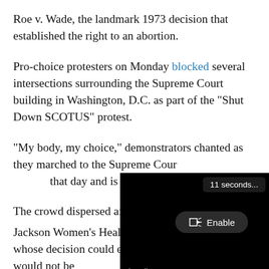Roe v. Wade, the landmark 1973 decision that established the right to an abortion.
Pro-choice protesters on Monday blocked several intersections surrounding the Supreme Court building in Washington, D.C. as part of the "Shut Down SCOTUS" protest.
"My body, my choice," demonstrators chanted as they marched to the Supreme Court... that day and is expected to iss...
[Figure (screenshot): A video player overlay showing a black screen with '11 seconds...' tooltip in top-right, an 'Enable' audio button in the center, and a 'Loading ...' bar at the bottom.]
The crowd dispersed after hea... Jackson Women's Health Organization, the case whose decision could effectively overturn Roe, would not be...